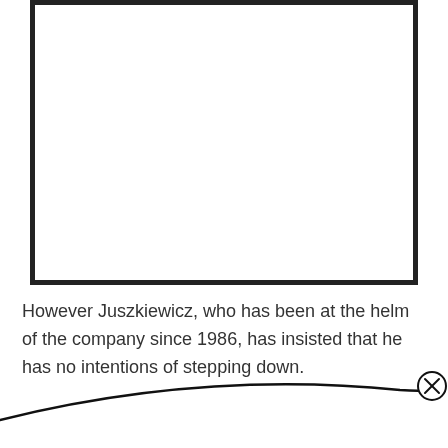[Figure (other): Large white rectangular box with thick black border, occupying the upper portion of the page. Interior is blank/white.]
However Juszkiewicz, who has been at the helm of the company since 1986, has insisted that he has no intentions of stepping down.